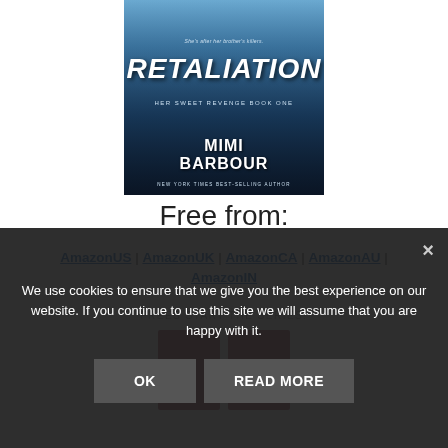[Figure (illustration): Book cover for 'Retaliation: Her Sweet Revenge Book One' by Mimi Barbour, New York Times Best-Selling Author. Dark blue/teal background with a woman and text overlay.]
Free from:
AmazonUS | AmazonUK | AmazonCA | AmazonAU | AmazonIN
We use cookies to ensure that we give you the best experience on our website. If you continue to use this site we will assume that you are happy with it.
OK
READ MORE